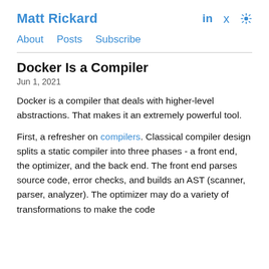Matt Rickard    in    🐦    ☀
About    Posts    Subscribe
Docker Is a Compiler
Jun 1, 2021
Docker is a compiler that deals with higher-level abstractions. That makes it an extremely powerful tool.
First, a refresher on compilers. Classical compiler design splits a static compiler into three phases - a front end, the optimizer, and the back end. The front end parses source code, error checks, and builds an AST (scanner, parser, analyzer). The optimizer may do a variety of transformations to make the code